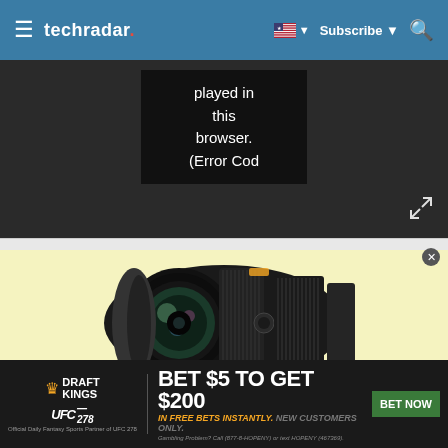techradar. Subscribe
[Figure (screenshot): Video player error message showing text: 'played in this browser. (Error Cod' on dark background with expand icon]
[Figure (photo): Camera lens (Nikon AF-P DX NIKKOR 18-55mm) on yellow-cream background]
[Figure (infographic): DraftKings UFC 278 advertisement banner: BET $5 TO GET $200 IN FREE BETS INSTANTLY. NEW CUSTOMERS ONLY. BET NOW button. Gambling Problem? Call (877-8-HOPENY) or text HOPENY (467369).]